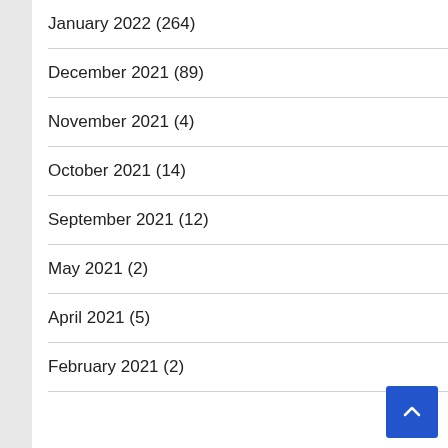January 2022 (264)
December 2021 (89)
November 2021 (4)
October 2021 (14)
September 2021 (12)
May 2021 (2)
April 2021 (5)
February 2021 (2)